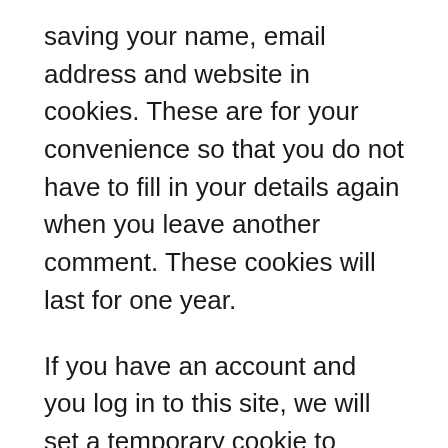saving your name, email address and website in cookies. These are for your convenience so that you do not have to fill in your details again when you leave another comment. These cookies will last for one year.
If you have an account and you log in to this site, we will set a temporary cookie to determine if your browser accepts cookies. This cookie contains no personal data and is discarded when you close your browser.
When you log in, we will also set up several cookies to save your login information and your screen display choices. Login cookies last for two days, and screen